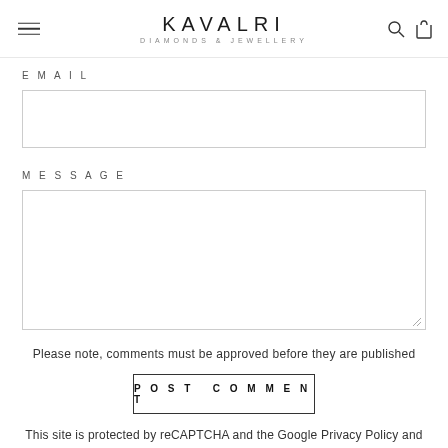KAVALRI DIAMONDS & JEWELLERY
EMAIL
[Figure (screenshot): Email input text field, empty, with border]
MESSAGE
[Figure (screenshot): Message textarea input, empty, with border and resize handle]
Please note, comments must be approved before they are published
POST COMMENT
This site is protected by reCAPTCHA and the Google Privacy Policy and Terms of Service apply.